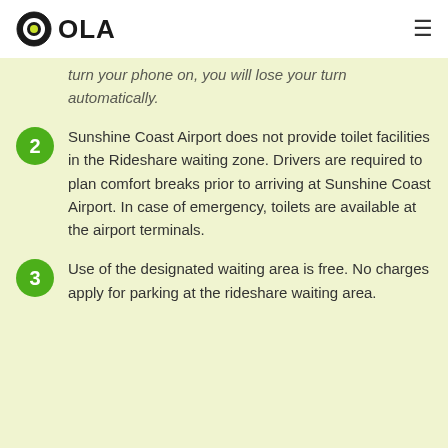OLA
turn your phone on, you will lose your turn automatically.
Sunshine Coast Airport does not provide toilet facilities in the Rideshare waiting zone. Drivers are required to plan comfort breaks prior to arriving at Sunshine Coast Airport. In case of emergency, toilets are available at the airport terminals.
Use of the designated waiting area is free. No charges apply for parking at the rideshare waiting area.